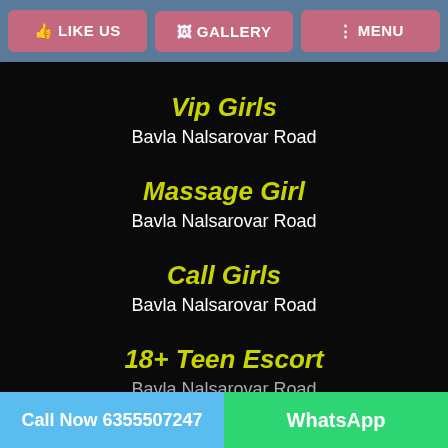LIKE US  GALLERY  MENU
Vip Girls
Bavla Nalsarovar Road
Massage Girl
Bavla Nalsarovar Road
Call Girls
Bavla Nalsarovar Road
18+ Teen Escort
Bavla Nalsarovar Road
Call Now 6355507247  WhatsApp